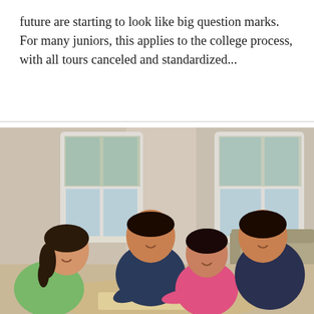future are starting to look like big question marks. For many juniors, this applies to the college process, with all tours canceled and standardized...
[Figure (photo): A family of four — two adults and two children — gathered around a table on the floor playing a board game together in a bright living room with windows in the background.]